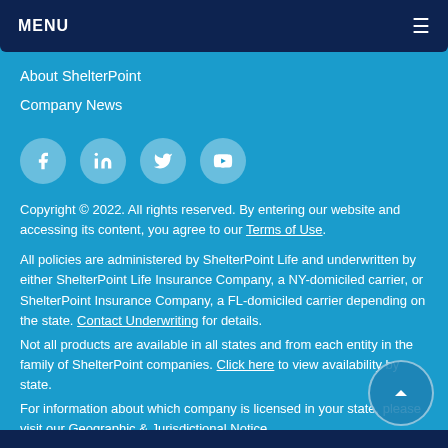MENU
About ShelterPoint
Company News
[Figure (other): Social media icons: Facebook, LinkedIn, Twitter, YouTube]
Copyright © 2022. All rights reserved. By entering our website and accessing its content, you agree to our Terms of Use.
All policies are administered by ShelterPoint Life and underwritten by either ShelterPoint Life Insurance Company, a NY-domiciled carrier, or ShelterPoint Insurance Company, a FL-domiciled carrier depending on the state. Contact Underwriting for details.
Not all products are available in all states and from each entity in the family of ShelterPoint companies. Click here to view availability by state.
For information about which company is licensed in your state, please visit our Geographic & Jurisdictional Notice.